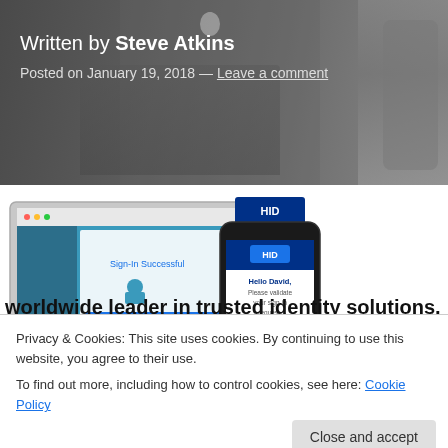Written by Steve Atkins
Posted on January 19, 2018 — Leave a comment
[Figure (screenshot): Screenshot of HID Global authentication app on a desktop and mobile phone showing Sign-In Successful screen and mobile push authentication request with Accept and Decline buttons, plus HID Global logo card above phone]
HID Global®, a
worldwide leader in trusted identity solutions, has
Privacy & Cookies: This site uses cookies. By continuing to use this website, you agree to their use.
To find out more, including how to control cookies, see here: Cookie Policy
Close and accept
increasingly important role in its authentication offering,